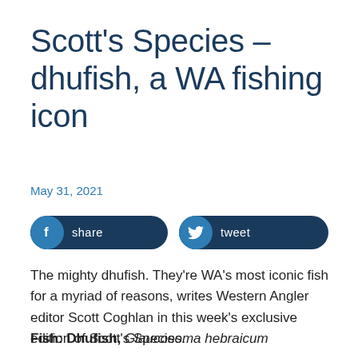Scott's Species – dhufish, a WA fishing icon
May 31, 2021
[Figure (other): Social media share buttons: Facebook 'share' button and Twitter 'tweet' button, both dark navy with rounded pill shape]
The mighty dhufish. They're WA's most iconic fish for a myriad of reasons, writes Western Angler editor Scott Coghlan in this week's exclusive edition of Scott's Species.
Fish: Dhufish, Glaucosoma hebraicum